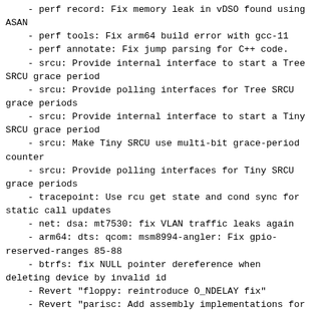- perf record: Fix memory leak in vDSO found using ASAN
- perf tools: Fix arm64 build error with gcc-11
- perf annotate: Fix jump parsing for C++ code.
- srcu: Provide internal interface to start a Tree SRCU grace period
- srcu: Provide polling interfaces for Tree SRCU grace periods
- srcu: Provide internal interface to start a Tiny SRCU grace period
- srcu: Make Tiny SRCU use multi-bit grace-period counter
- srcu: Provide polling interfaces for Tiny SRCU grace periods
- tracepoint: Use rcu get state and cond sync for static call updates
- net: dsa: mt7530: fix VLAN traffic leaks again
- arm64: dts: qcom: msm8994-angler: Fix gpio-reserved-ranges 85-88
- btrfs: fix NULL pointer dereference when deleting device by invalid id
- Revert "floppy: reintroduce O_NDELAY fix"
- Revert "parisc: Add assembly implementations for memset, strlen, strcpy,
        strncpy and strcat"
- net: don't unconditionally copy_from_user a struct ifreq for socket ioctls
- audit: move put_tree() to avoid trim_trees refcount underflow and UAF
- bpf: Fix potentially incorrect results with